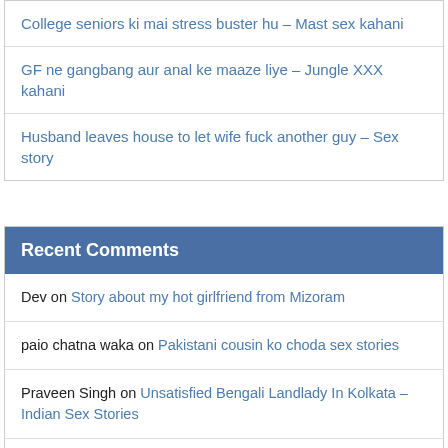College seniors ki mai stress buster hu – Mast sex kahani
GF ne gangbang aur anal ke maaze liye – Jungle XXX kahani
Husband leaves house to let wife fuck another guy – Sex story
Recent Comments
Dev on Story about my hot girlfriend from Mizoram
paio chatna waka on Pakistani cousin ko choda sex stories
Praveen Singh on Unsatisfied Bengali Landlady In Kolkata – Indian Sex Stories
Sayan on Junior guy fucks senior girl's tight ass in a lodge – Sex story
Yuraj on Dost Ki Maa Ki Gaand Mari
[Figure (photo): Partial blurred adult image at bottom of page with close button overlay]
May 2022 (1)